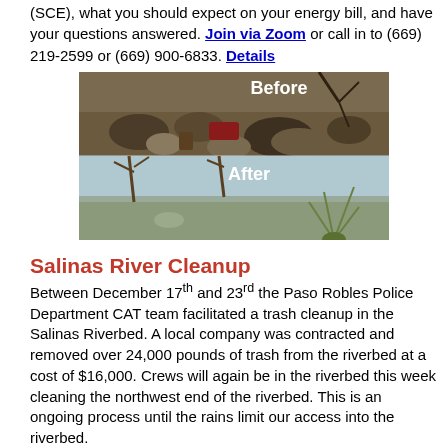(SCE), what you should expect on your energy bill, and have your questions answered. Join via Zoom or call in to (669) 219-2599 or (669) 900-6833. Details
[Figure (photo): Before and after photos of the Salinas Riverbed cleanup. Top image labeled 'Before' shows debris and trash. Bottom image labeled 'After' shows cleared riverbed.]
Salinas River Cleanup
Between December 17th and 23rd the Paso Robles Police Department CAT team facilitated a trash cleanup in the Salinas Riverbed. A local company was contracted and removed over 24,000 pounds of trash from the riverbed at a cost of $16,000. Crews will again be in the riverbed this week cleaning the northwest end of the riverbed. This is an ongoing process until the rains limit our access into the riverbed.
[Figure (photo): City Council Meeting banner/logo image at the bottom of the page.]